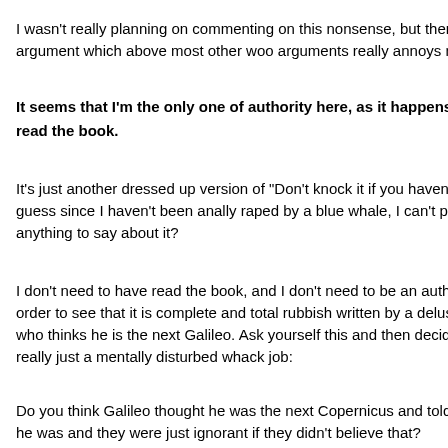I wasn't really planning on commenting on this nonsense, but then there was an argument which above most other woo arguments really annoys me:
It seems that I'm the only one of authority here, as it happens that I have read the book.
It's just another dressed up version of "Don't knock it if you haven't tried it." I guess since I haven't been anally raped by a blue whale, I can't possibly have anything to say about it?
I don't need to have read the book, and I don't need to be an authority on it in order to see that it is complete and total rubbish written by a delusional fantasist who thinks he is the next Galileo. Ask yourself this and then decide if Victor is really just a mentally disturbed whack job:
Do you think Galileo thought he was the next Copernicus and told everyone he was and they were just ignorant if they didn't believe that?
He is a fantasist of the highest order.
You just fell for his marketing Cat. If indeed you are not just a sock puppet.
Now, on top of the absolute absurdity of the "Don't knock it" argument, we have no proof that you are what you call an authority. Simply reading something does not make you an authority on the subject, it doesn't even show you understand the subject. If it did that would make me an authority on ancient, early mode...